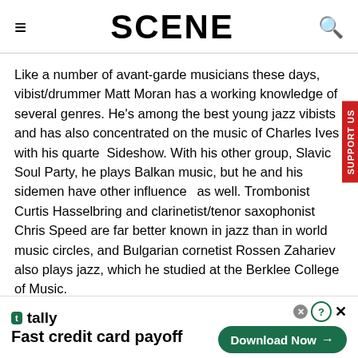SCENE
Like a number of avant-garde musicians these days, vibist/drummer Matt Moran has a working knowledge of several genres. He's among the best young jazz vibists and has also concentrated on the music of Charles Ives with his quartet Sideshow. With his other group, Slavic Soul Party, he plays Balkan music, but he and his sidemen have other influences as well. Trombonist Curtis Hasselbring and clarinetist/tenor saxophonist Chris Speed are far better known in jazz than in world music circles, and Bulgarian cornetist Rossen Zahariev also plays jazz, which he studied at the Berklee College of Music.
[Figure (other): Tally advertisement banner — Fast credit card payoff with Download Now button]